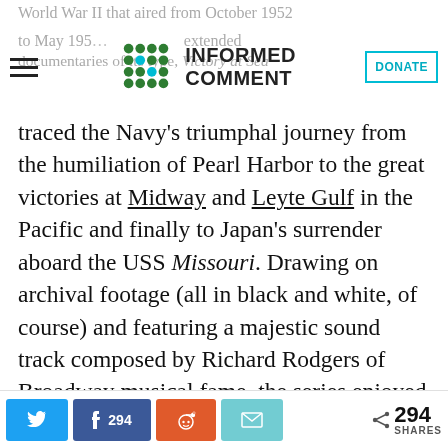World War II that aired from October 1952 to May 1955, and extended documentaries of its type, Victory at Sea
[Figure (logo): Informed Comment logo with decorative dot grid icon and bold sans-serif text reading INFORMED COMMENT]
traced the Navy’s triumphal journey from the humiliation of Pearl Harbor to the great victories at Midway and Leyte Gulf in the Pacific and finally to Japan’s surrender aboard the USS Missouri. Drawing on archival footage (all in black and white, of course) and featuring a majestic sound track composed by Richard Rodgers of Broadway musical fame, the series enjoyed immense popularity. For many young people of that time, it was the most compelling, graphic
Twitter share | Facebook 294 | Reddit | Email | 294 SHARES